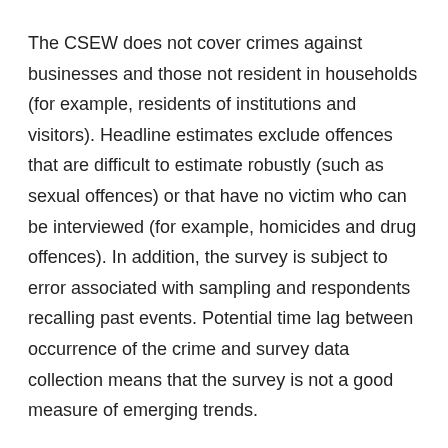The CSEW does not cover crimes against businesses and those not resident in households (for example, residents of institutions and visitors). Headline estimates exclude offences that are difficult to estimate robustly (such as sexual offences) or that have no victim who can be interviewed (for example, homicides and drug offences). In addition, the survey is subject to error associated with sampling and respondents recalling past events. Potential time lag between occurrence of the crime and survey data collection means that the survey is not a good measure of emerging trends.